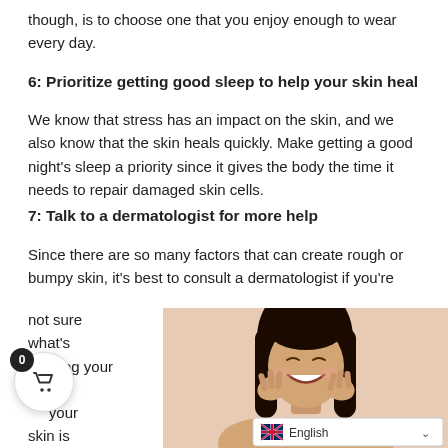though, is to choose one that you enjoy enough to wear every day.
6: Prioritize getting good sleep to help your skin heal
We know that stress has an impact on the skin, and we also know that the skin heals quickly. Make getting a good night's sleep a priority since it gives the body the time it needs to repair damaged skin cells.
7: Talk to a dermatologist for more help
Since there are so many factors that can create rough or bumpy skin, it's best to consult a dermatologist if you're not sure what's causing your symptoms. A... your skin is
[Figure (photo): A smiling young Asian woman with long black hair, hands raised to her cheeks, photographed against a beige/peach background. A language selector bar showing 'English' with UK flag and chevron is visible at the bottom right of the image.]